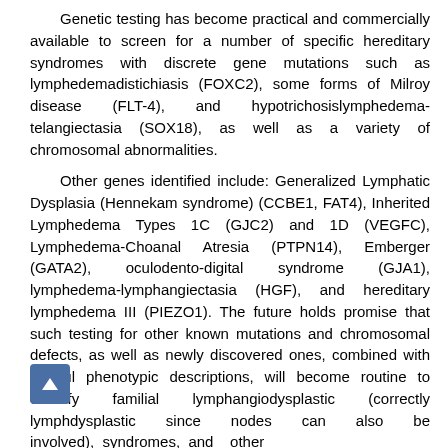Genetic testing has become practical and commercially available to screen for a number of specific hereditary syndromes with discrete gene mutations such as lymphedemadistichiasis (FOXC2), some forms of Milroy disease (FLT-4), and hypotrichosislymphedema-telangiectasia (SOX18), as well as a variety of chromosomal abnormalities.
Other genes identified include: Generalized Lymphatic Dysplasia (Hennekam syndrome) (CCBE1, FAT4), Inherited Lymphedema Types 1C (GJC2) and 1D (VEGFC), Lymphedema-Choanal Atresia (PTPN14), Emberger (GATA2), oculodento-digital syndrome (GJA1), lymphedema-lymphangiectasia (HGF), and hereditary lymphedema III (PIEZO1). The future holds promise that such testing for other known mutations and chromosomal defects, as well as newly discovered ones, combined with careful phenotypic descriptions, will become routine to classify familial lymphangiodysplastic (correctly lymphdysplastic since nodes can also be involved), syndromes, and other